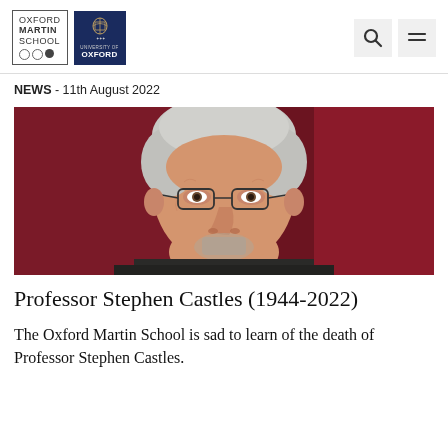Oxford Martin School / University of Oxford — navigation header with search and menu icons
NEWS - 11th August 2022
[Figure (photo): Close-up portrait photograph of an elderly man with white/grey hair, glasses, and a beard, against a dark red/crimson background. This is Professor Stephen Castles.]
Professor Stephen Castles (1944-2022)
The Oxford Martin School is sad to learn of the death of Professor Stephen Castles.